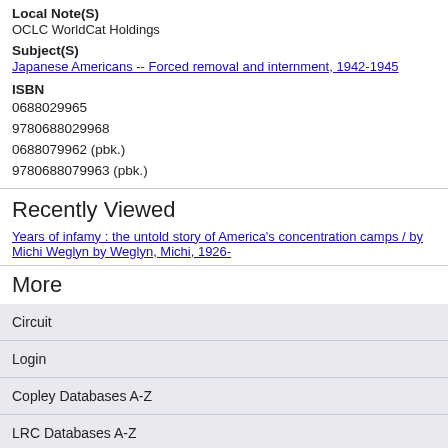Local Note(S)
OCLC WorldCat Holdings
Subject(S)
Japanese Americans -- Forced removal and internment, 1942-1945
ISBN
0688029965
9780688029968
0688079962 (pbk.)
9780688079963 (pbk.)
Recently Viewed
Years of infamy : the untold story of America's concentration camps / by Michi Weglyn by Weglyn, Michi, 1926-
More
Circuit
Login
Copley Databases A-Z
LRC Databases A-Z